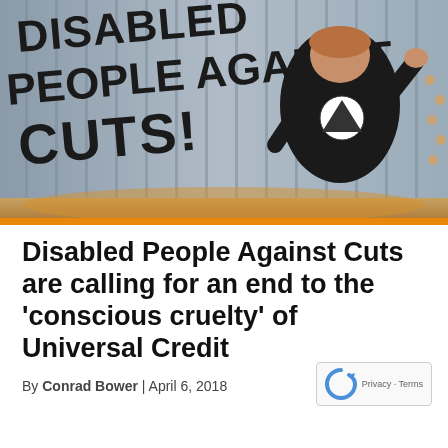[Figure (photo): A person in a black hoodie with a DPAC logo stands with fist raised in front of a corrugated metal wall with graffiti reading 'DISABLED PEOPLE AGAINST CUTS!']
Disabled People Against Cuts are calling for an end to the ‘conscious cruelty’ of Universal Credit
By Conrad Bower | April 6, 2018